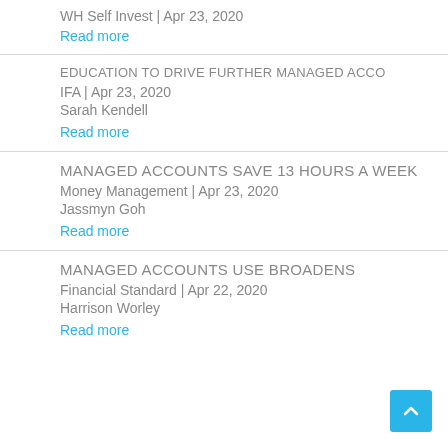WH Self Invest | Apr 23, 2020
Read more
EDUCATION TO DRIVE FURTHER MANAGED ACCO
IFA | Apr 23, 2020
Sarah Kendell
Read more
MANAGED ACCOUNTS SAVE 13 HOURS A WEEK
Money Management | Apr 23, 2020
Jassmyn Goh
Read more
MANAGED ACCOUNTS USE BROADENS
Financial Standard | Apr 22, 2020
Harrison Worley
Read more